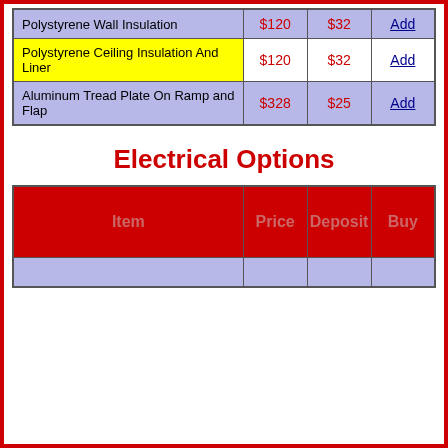| Item | Price | Deposit | Buy |
| --- | --- | --- | --- |
| Polystyrene Wall Insulation | $120 | $32 | Add |
| Polystyrene Ceiling Insulation And Liner | $120 | $32 | Add |
| Aluminum Tread Plate On Ramp and Flap | $328 | $25 | Add |
Electrical Options
| Item | Price | Deposit | Buy |
| --- | --- | --- | --- |